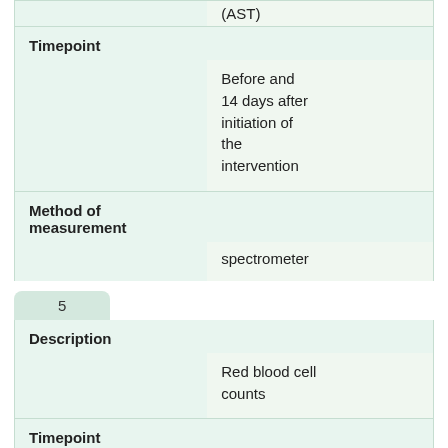| (AST) |
| Timepoint |  |
|  | Before and 14 days after initiation of the intervention |
| Method of measurement |  |
|  | spectrometer |
5
| Description |  |
|  | Red blood cell counts |
| Timepoint |  |
|  | Before and 14 days after |